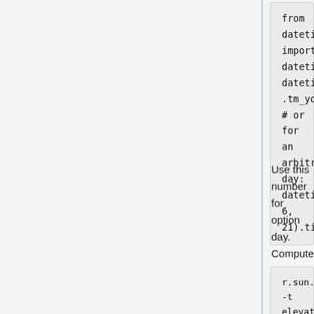from datetime import datetime

datetime.now().timetuple()
.tm_yday
 # or for an arbitrary day:
  datetime.datetime(2017,
  6, 21).timetuple().tm_yday
Use this number for option day. Compute beam irradiance raster series (be patient) with the following command. The time series is automatically registered into a space-time raster dataset.
r.sun.hourly -t elevation=elev_lid_small start_time=6 end_time=20 day=101 year=2017 beam_rad_basename=solar nprocs=4